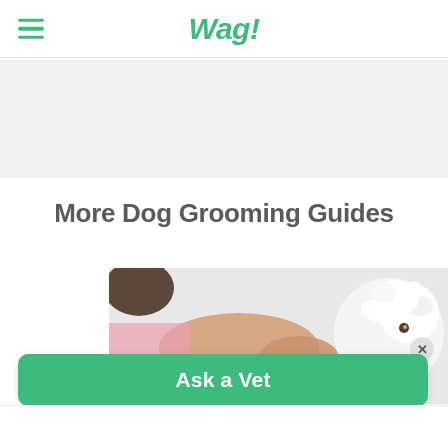Wag!
[Figure (other): Gray advertisement banner placeholder]
More Dog Grooming Guides
[Figure (photo): Person grooming a small white fluffy dog]
Ask a Vet